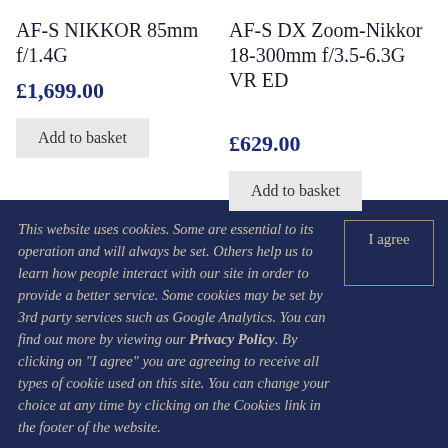AF-S NIKKOR 85mm f/1.4G
£1,699.00
Add to basket
AF-S DX Zoom-Nikkor 18-300mm f/3.5-6.3G VR ED
£629.00
Add to basket
This website uses cookies. Some are essential to its operation and will always be set. Others help us to learn how people interact with our site in order to provide a better service. Some cookies may be set by 3rd party services such as Google Analytics. You can find out more by viewing our Privacy Policy. By clicking on "I agree" you are agreeing to receive all types of cookie used on this site. You can change your choice at any time by clicking on the Cookies link in the footer of the website.
I agree